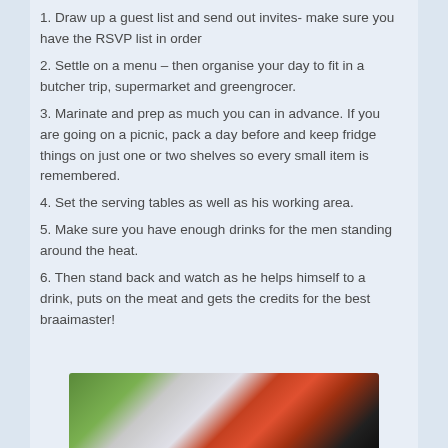1. Draw up a guest list and send out invites- make sure you have the RSVP list in order
2. Settle on a menu – then organise your day to fit in a butcher trip, supermarket and greengrocer.
3. Marinate and prep as much you can in advance. If you are going on a picnic, pack a day before and keep fridge things on just one or two shelves so every small item is remembered.
4. Set the serving tables as well as his working area.
5. Make sure you have enough drinks for the men standing around the heat.
6. Then stand back and watch as he helps himself to a drink, puts on the meat and gets the credits for the best braaimaster!
[Figure (photo): Photo of grilled meat on a braai/barbecue with green background, partially visible at bottom of page]